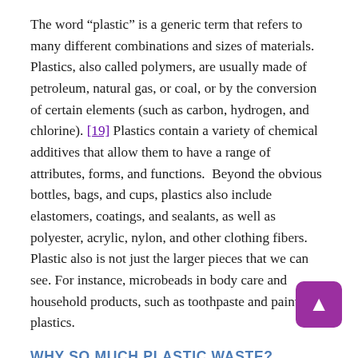The word “plastic” is a generic term that refers to many different combinations and sizes of materials. Plastics, also called polymers, are usually made of petroleum, natural gas, or coal, or by the conversion of certain elements (such as carbon, hydrogen, and chlorine). [19] Plastics contain a variety of chemical additives that allow them to have a range of attributes, forms, and functions. Beyond the obvious bottles, bags, and cups, plastics also include elastomers, coatings, and sealants, as well as polyester, acrylic, nylon, and other clothing fibers. Plastic also is not just the larger pieces that we can see. For instance, microbeads in body care and household products, such as toothpaste and paint, are plastics.
WHY SO MUCH PLASTIC WASTE?
Mass production of plastic began in the 1950s, with over 8 billion metric tons produced since then. The